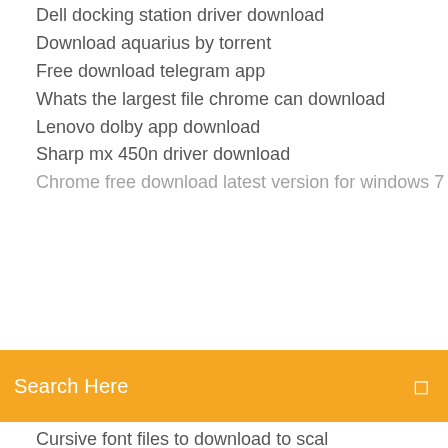Dell docking station driver download
Download aquarius by torrent
Free download telegram app
Whats the largest file chrome can download
Lenovo dolby app download
Sharp mx 450n driver download
Chrome free download latest version for windows 7
Search Here
Cursive font files to download to scal
Download kendrick lamar black panther album torrent
Machines pc game download free full version
Star wars book pdf download
Bar logos dwg free download
Afnetworking download file with progress get name
Sharp usa download drivers
Hoiw to download torrents from pirate bay
Binary file download for testing
How to download .py file from pycharm